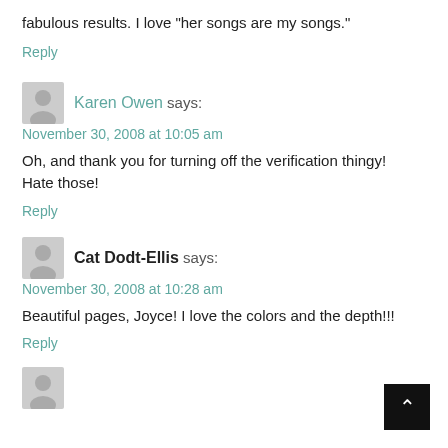fabulous results. I love “her songs are my songs.”
Reply
Karen Owen says:
November 30, 2008 at 10:05 am

Oh, and thank you for turning off the verification thingy! Hate those!

Reply
Cat Dodt-Ellis says:
November 30, 2008 at 10:28 am

Beautiful pages, Joyce! I love the colors and the depth!!!

Reply
[Figure (other): User avatar placeholder icon (gray silhouette)]